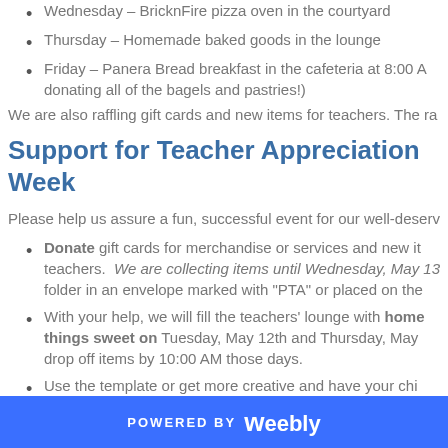Wednesday – BricknFire pizza oven in the courtyard
Thursday – Homemade baked goods in the lounge
Friday – Panera Bread breakfast in the cafeteria at 8:00 A... donating all of the bagels and pastries!)
We are also raffling gift cards and new items for teachers. The ra...
Support for Teacher Appreciation Week
Please help us assure a fun, successful event for our well-deserv...
Donate gift cards for merchandise or services and new it... teachers. We are collecting items until Wednesday, May 13... folder in an envelope marked with "PTA" or placed on the...
With your help, we will fill the teachers' lounge with homemade things sweet on Tuesday, May 12th and Thursday, May... drop off items by 10:00 AM those days.
Use the template or get more creative and have your chi... and artwork thanking their teachers and staff. Place the... that we can post them on teachers' doors and bulletin bo... Wednesday, May 13th.
POWERED BY weebly